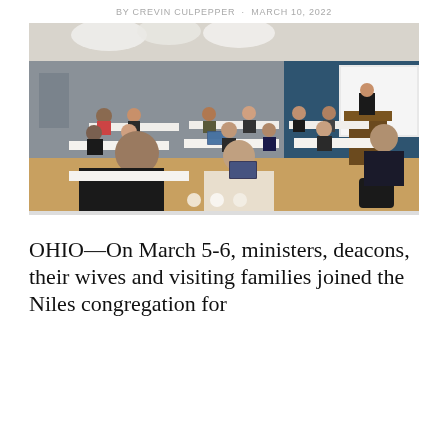BY CREVIN CULPEPPER · MARCH 10, 2022
[Figure (photo): A conference or church meeting room scene. People seated at rectangular tables arranged in a classroom style, facing a speaker at a podium in the front right. The room has gray and blue walls, a projector screen, and a wood-colored floor. Attendees appear to be listening to the presentation.]
OHIO—On March 5-6, ministers, deacons, their wives and visiting families joined the Niles congregation for the annual two-day Sabbath day services